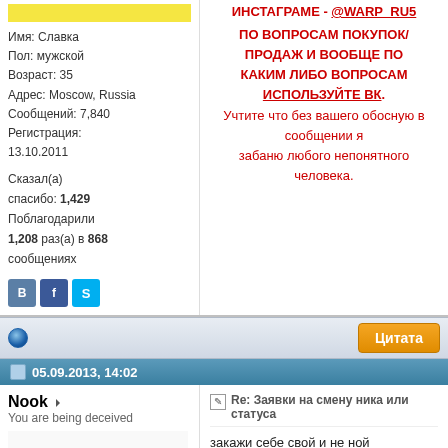ИНСТАГРАМЕ - @WARP_RU5
Имя: Славка
Пол: мужской
Возраст: 35
Адрес: Moscow, Russia
Сообщений: 7,840
Регистрация: 13.10.2011
Сказал(а) спасибо: 1,429
Поблагодарили 1,208 раз(а) в 868 сообщениях
ПО ВОПРОСАМ ПОКУПОК/ПРОДАЖ И ВООБЩЕ ПО КАКИМ ЛИБО ВОПРОСАМ ИСПОЛЬЗУЙТЕ ВК.
Учтите что без вашего обосную в сообщении я забаню любого непонятного человека.
05.09.2013, 14:02
Nook
You are being deceived
Re: Заявки на смену ника или статуса
закажи себе свой и не ной
Моя коллекция трансформ... данный момент